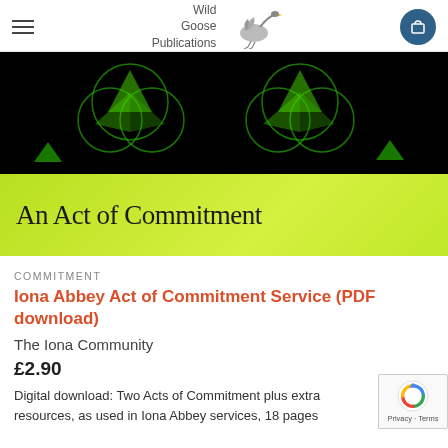Wild Goose Publications
[Figure (photo): Book cover for 'An Act of Commitment' — dark background with green geometric patterns on top half, bright lime-green gradient background with the title 'An Act of Commitment' in dark serif text on bottom half.]
COMMITMENT
Iona Abbey Act of Commitment Service (PDF download)
The Iona Community
£2.90
Digital download: Two Acts of Commitment plus extra resources, as used in Iona Abbey services, 18 pages